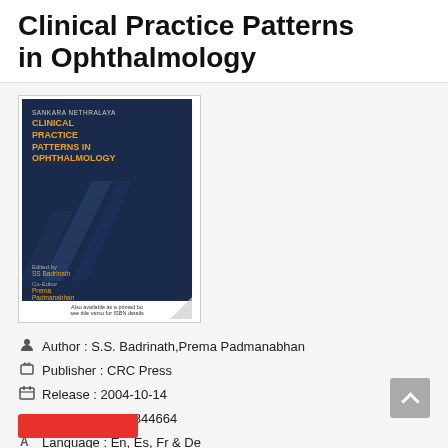Clinical Practice Patterns in Ophthalmology
[Figure (photo): Book cover of 'Sankara Nethralaya Clinical Practice Patterns in Ophthalmology', dark navy blue cover with orange title text, edited by SS Badrinath, Co-Editor Prema Padmanabhan, published by Taylor & Francis. Footer reads: Also available as a printed book, see title verso for ISBN details. Page curl effect at bottom right.]
Author : S.S. Badrinath,Prema Padmanabhan
Publisher : CRC Press
Release : 2004-10-14
ISBN : 9781841844664
Language : En, Es, Fr & De